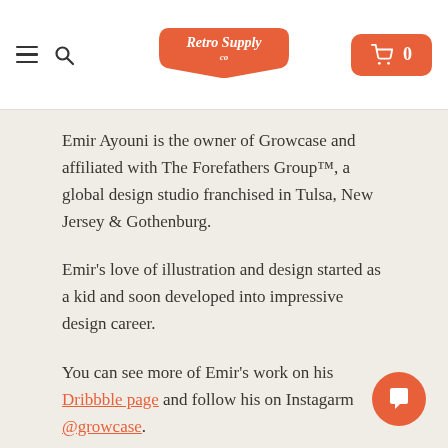RetroSupply.co — navigation header with hamburger menu, search icon, logo, and cart button showing 0 items
Emir Ayouni is the owner of Growcase and affiliated with The Forefathers Group™, a global design studio franchised in Tulsa, New Jersey & Gothenburg.
Emir's love of illustration and design started as a kid and soon developed into impressive design career.
You can see more of Emir's work on his Dribbble page and follow his on Instagarm @growcase.